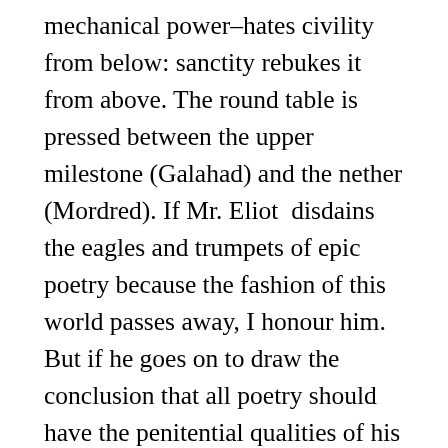mechanical power–hates civility from below: sanctity rebukes it from above. The round table is pressed between the upper milestone (Galahad) and the nether (Mordred). If Mr. Eliot  disdains the eagles and trumpets of epic poetry because the fashion of this world passes away, I honour him. But if he goes on to draw the conclusion that all poetry should have the penitential qualities of his own best work, I believe he is mistaken. As long as we live in merry middle earth it is necessary to have middle things. If the round table is abolished, for every one who rises to the level of Galahad, a hundred will drop plumb down to that of Mordred. Mr. Eliot may succeed in persuading the reading youth of England to have done with robes of purple and pavements of marble. But he will not therefore find them walking in sackcloth on